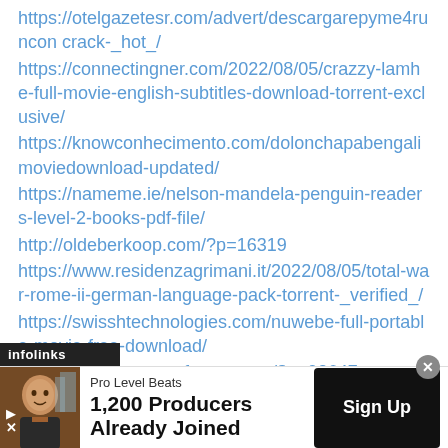https://otelgazetesr.com/advert/descargarepyme4runcon crack-_hot_/
https://connectingner.com/2022/08/05/crazzy-lamhe-full-movie-english-subtitles-download-torrent-exclusive/
https://knowconhecimento.com/dolonchapabengalimoviedownload-updated/
https://nameme.ie/nelson-mandela-penguin-readers-level-2-books-pdf-file/
http://oldeberkoop.com/?p=16319
https://www.residenzagrimani.it/2022/08/05/total-war-rome-ii-german-language-pack-torrent-_verified_/
https://swisshtechnologies.com/nuwebe-full-portable-movie-free-download/
https://liquidonetransfer.com.mx/?p=92647
[Figure (screenshot): Infolinks advertisement banner at the bottom of the page showing 'Pro Level Beats' ad with text '1,200 Producers Already Joined' and a 'Sign Up' button, with a photo of a person smiling.]